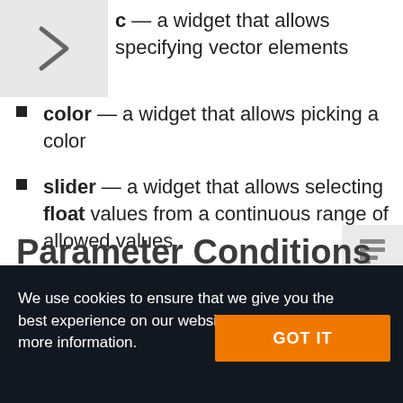c — a widget that allows specifying vector elements
color — a widget that allows picking a color
slider — a widget that allows selecting float values from a continuous range of allowed values.
Parameter Conditions
We use cookies to ensure that we give you the best experience on our website. Click here for more information.
GOT IT